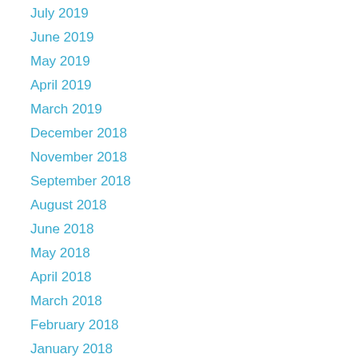July 2019
June 2019
May 2019
April 2019
March 2019
December 2018
November 2018
September 2018
August 2018
June 2018
May 2018
April 2018
March 2018
February 2018
January 2018
December 2017
November 2017
October 2017
September 2017
August 2017